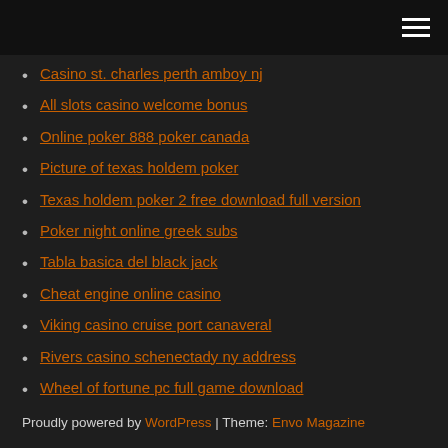[hamburger menu icon]
Casino st. charles perth amboy nj
All slots casino welcome bonus
Online poker 888 poker canada
Picture of texas holdem poker
Texas holdem poker 2 free download full version
Poker night online greek subs
Tabla basica del black jack
Cheat engine online casino
Viking casino cruise port canaveral
Rivers casino schenectady ny address
Wheel of fortune pc full game download
Proudly powered by WordPress | Theme: Envo Magazine